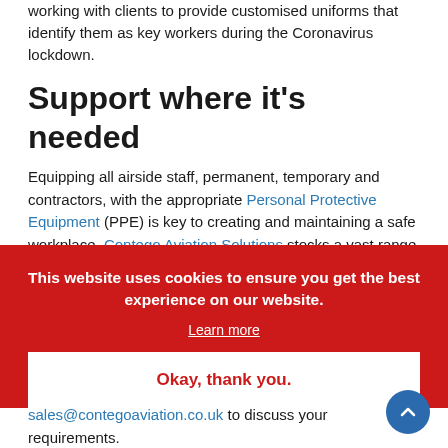working with clients to provide customised uniforms that identify them as key workers during the Coronavirus lockdown.
Support where it's needed
Equipping all airside staff, permanent, temporary and contractors, with the appropriate Personal Protective Equipment (PPE) is key to creating and maintaining a safe workplace. Contego Aviation Solutions stocks a vast range of protective clothing, PPE and corporate wear, including our own WEARMASTER® range. The friendly and expert team at Contego Aviation Solutions is always on hand to give advice and guidance on the right PPE and protective clothing for your needs.
Contact us now on 0800 122 3323 or sales@contegoaviation.co.uk to discuss your requirements.
Contego Aviation Solutions is your one-stop
[Figure (screenshot): Cookie consent overlay banner in red with white text: 'This website uses cookies to ensure you get the best experience on our website.' with a 'Learn more' link and an 'Okay, thank you.' button in white.]